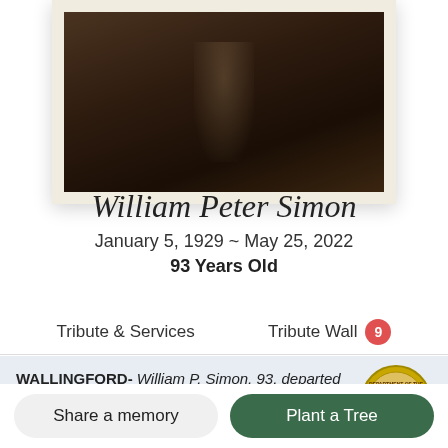[Figure (photo): Portrait photo of William Peter Simon in a dark brown framed image with off-white border]
William Peter Simon
January 5, 1929 ~ May 25, 2022
93 Years Old
Tribute & Services    Tribute Wall 9
WALLINGFORD- William P. Simon, 93, departed this life on May 25, 2022 at Midstate Medical Center in Meriden. He was the
Share a memory
Plant a Tree